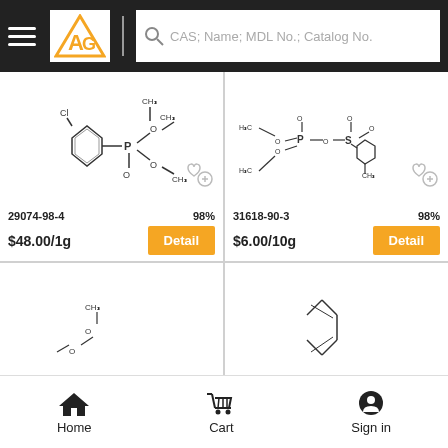CAS; Name; MDL No.; Catalog No.
[Figure (illustration): Chemical structure of compound 29074-98-4: diethyl (2-chlorobenzyl)phosphonate]
29074-98-4   98%
$48.00/1g   Detail
[Figure (illustration): Chemical structure of compound 31618-90-3: a phosphonate tosylate ester]
31618-90-3   98%
$6.00/10g   Detail
[Figure (illustration): Partial chemical structure visible at bottom left]
[Figure (illustration): Partial chemical structure visible at bottom right]
Home   Cart   Sign in